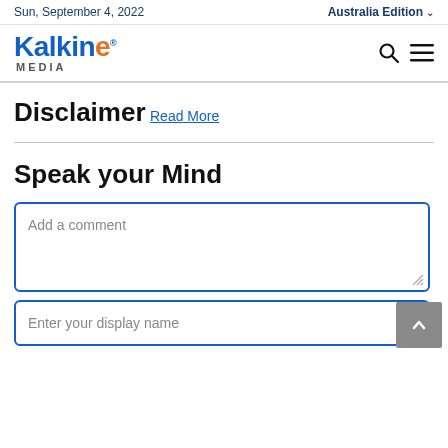Sun, September 4, 2022 | Australia Edition
[Figure (logo): Kalkine Media logo with blue 'Kalkine' text, orange 'e', and 'MEDIA' subtitle; search and hamburger menu icons on right]
Disclaimer
Read More
Speak your Mind
Add a comment
Enter your display name